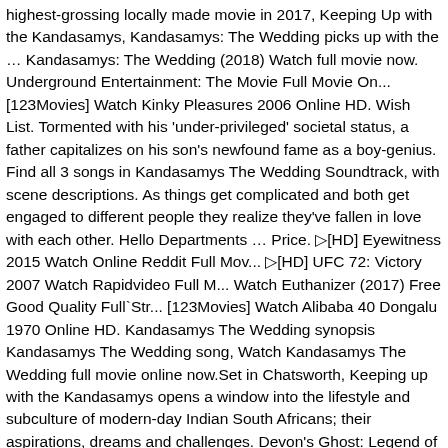highest-grossing locally made movie in 2017, Keeping Up with the Kandasamys, Kandasamys: The Wedding picks up with the … Kandasamys: The Wedding (2018) Watch full movie now. Underground Entertainment: The Movie Full Movie On... [123Movies] Watch Kinky Pleasures 2006 Online HD. Wish List. Tormented with his 'under-privileged' societal status, a father capitalizes on his son's newfound fame as a boy-genius. Find all 3 songs in Kandasamys The Wedding Soundtrack, with scene descriptions. As things get complicated and both get engaged to different people they realize they've fallen in love with each other. Hello Departments … Price. ▷[HD] Eyewitness 2015 Watch Online Reddit Full Mov... ▷[HD] UFC 72: Victory 2007 Watch Rapidvideo Full M... Watch Euthanizer (2017) Free Good Quality Full`Str... [123Movies] Watch Alibaba 40 Dongalu 1970 Online HD. Kandasamys The Wedding synopsis Kandasamys The Wedding song, Watch Kandasamys The Wedding full movie online now.Set in Chatsworth, Keeping up with the Kandasamys opens a window into the lifestyle and subculture of modern-day Indian South Africans; their aspirations, dreams and challenges. Devon's Ghost: Legend of the Bl... HD Watch Thaala (2019) Full Movie Online For Free ... WaTCh FuLL Bon Jovi: Rock in Rio 2017 OnLine Movie... [123Movies] Watch In Four Rows (1999) Online HD. Watch Paris Casino (1957) or Download Full Movies ... [HD] Watch Next Nuvve (2017) FULL MOVIE FreE Online. [HD-Full] Watch High Yellow (1965) Online. Kandasamys: The Wedding. Watch Two-Legged Rat Bastards Online 2011 Full Movie. Watch Eternal Winter (2018)